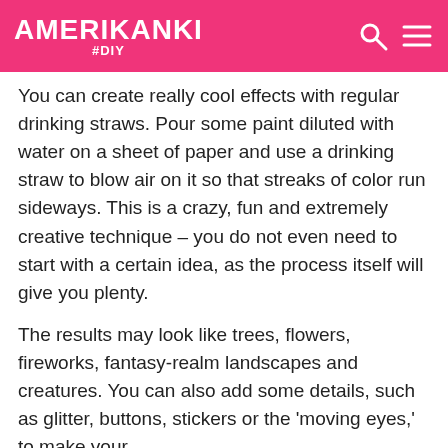AMERIKANKI #DIY
You can create really cool effects with regular drinking straws. Pour some paint diluted with water on a sheet of paper and use a drinking straw to blow air on it so that streaks of color run sideways. This is a crazy, fun and extremely creative technique – you do not even need to start with a certain idea, as the process itself will give you plenty.
The results may look like trees, flowers, fireworks, fantasy-realm landscapes and creatures. You can also add some details, such as glitter, buttons, stickers or the 'moving eyes,' to make your